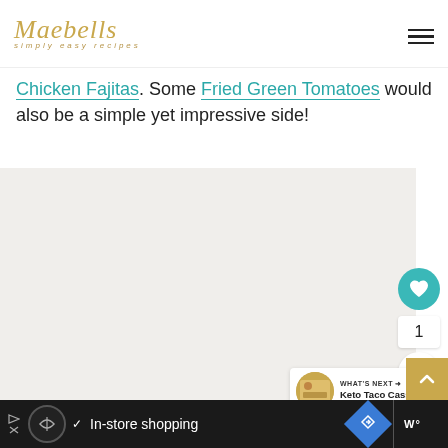Maebells simply easy recipes
Chicken Fajitas. Some Fried Green Tomatoes would also be a simple yet impressive side!
[Figure (photo): Large food photo area (placeholder/loading), with social interaction buttons (heart/like, count 1, share) on the right side]
WHAT'S NEXT → Keto Taco Casserole
In-store shopping [ad bar]